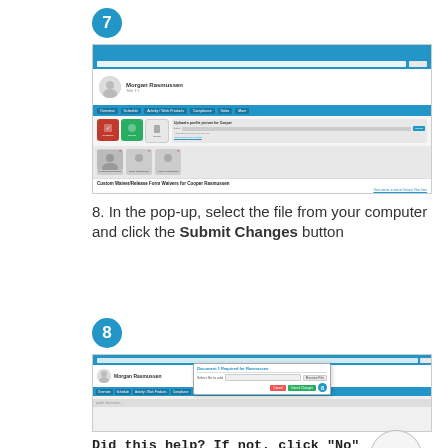[Figure (screenshot): Step 7 - Screenshot of a web profile page showing Morgan Rasmussen's profile with navigation bar, icon tiles, thumbnails, and a custom waiver/release form section with step 7 badge]
8. In the pop-up, select the file from your computer and click the Submit Changes button
[Figure (screenshot): Step 8 - Screenshot of a web profile page with a pop-up dialog for uploading a file, showing Submit Changes button and step 8 badge]
Did this help? If not, click "No" to contact support.